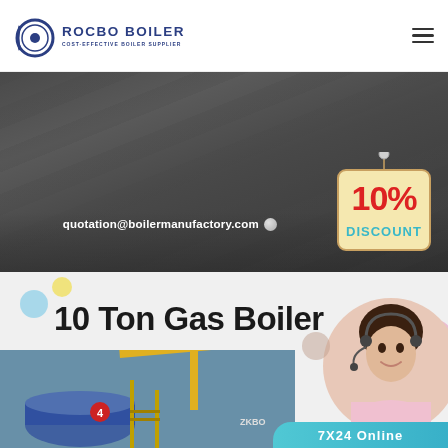[Figure (logo): Rocbo Boiler logo with circular emblem and text 'ROCBO BOILER COST-EFFECTIVE BOILER SUPPLIER']
[Figure (screenshot): Dark industrial background banner with diagonal lines and boiler factory imagery]
quotation@boilermanufactory.com
[Figure (infographic): 10% DISCOUNT sign hanging from string with ball]
10 Ton Gas Boiler
[Figure (photo): Gas boiler industrial equipment photo showing large blue cylindrical boiler with yellow crane in background]
[Figure (photo): Customer service representative with headset smiling, pink uniform]
7X24 Online